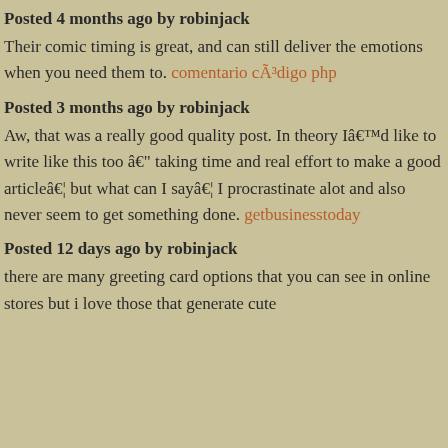Posted 4 months ago by robinjack
Their comic timing is great, and can still deliver the emotions when you need them to. comentario cÃ³digo php
Posted 3 months ago by robinjack
Aw, that was a really good quality post. In theory Iâ€™d like to write like this too â€" taking time and real effort to make a good articleâ€¦ but what can I sayâ€¦ I procrastinate alot and also never seem to get something done. getbusinesstoday
Posted 12 days ago by robinjack
there are many greeting card options that you can see in online stores but i love those that generate cute